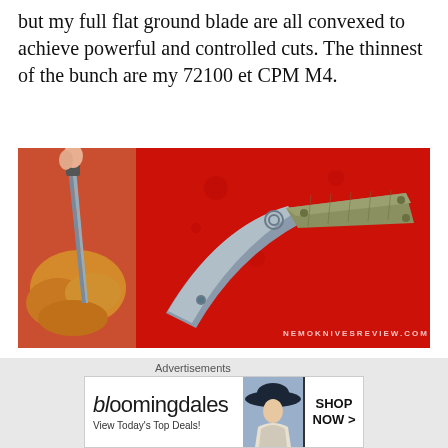but my full flat ground blade are all convexed to achieve powerful and controlled cuts. The thinnest of the bunch are my 72100 et CPM M4.
[Figure (photo): Two photos side by side: left photo shows a knife cutting roasted chicken on a red cutting board; right photo shows a folding knife with green/grey handle and blade resting on a red cutting board, with watermark NEMOKNIVESREVIEW.COM]
Ghost my CPM M4 millie has been used on various cutting duty involving food and grease as has been my 52100 Paramillie. I don't do cutting ropes tests or anything which can be numbered, I go with the feeling. Even if I enjoy reading
Advertisements
[Figure (screenshot): Bloomingdale's advertisement banner: 'bloomingdales - View Today's Top Deals!' with woman in hat image and 'SHOP NOW >' button]